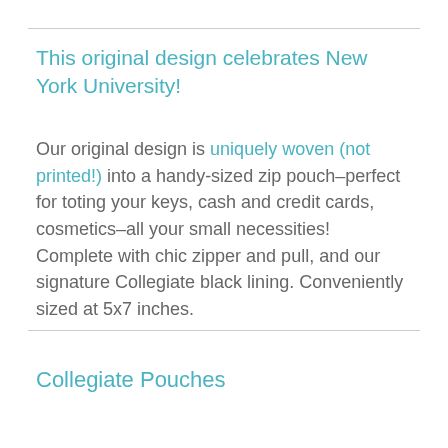This original design celebrates New York University!
Our original design is uniquely woven (not printed!) into a handy-sized zip pouch–perfect for toting your keys, cash and credit cards, cosmetics–all your small necessities! Complete with chic zipper and pull, and our signature Collegiate black lining. Conveniently sized at 5x7 inches.
Collegiate Pouches